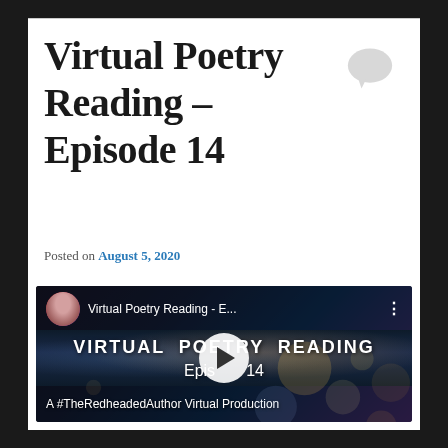Virtual Poetry Reading – Episode 14
Posted on August 5, 2020
[Figure (screenshot): YouTube video thumbnail for 'Virtual Poetry Reading - Episode 14' showing a woman's portrait in the top-left, video title text, a play button in the center, large text reading 'VIRTUAL POETRY READING Episode 14', and subtitle 'A #TheRedheadedAuthor Virtual Production' over a dark bokeh city night background.]